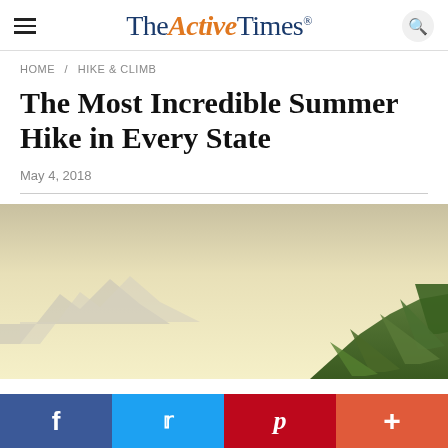The Active Times
HOME / HIKE & CLIMB
The Most Incredible Summer Hike in Every State
May 4, 2018
[Figure (photo): Landscape photo showing mountains in the background with a pale yellow sky and green trees/hillside on the right side]
f  Twitter  P  +